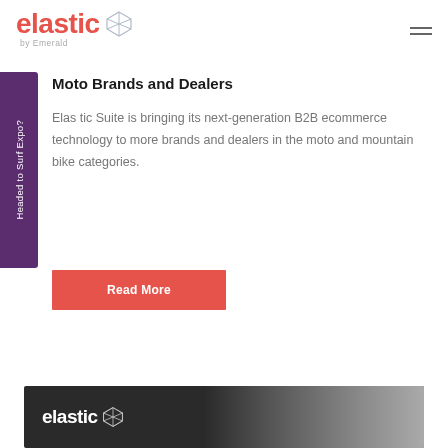elastic by Emerald
Moto Brands and Dealers
Elastic Suite is bringing its next-generation B2B ecommerce technology to more brands and dealers in the moto and mountain bike categories.
Headed to Surf Expo?
Read More
[Figure (photo): Bottom photo showing elastic by Emerald logo with a person in background, dark background]